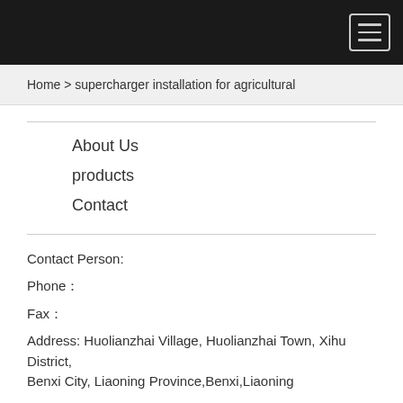☰
Home > supercharger installation for agricultural
About Us
products
Contact
Contact Person:
Phone：
Fax：
Address: Huolianzhai Village, Huolianzhai Town, Xihu District, Benxi City, Liaoning Province,Benxi,Liaoning